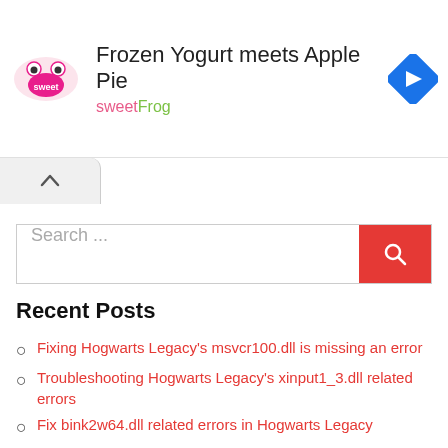[Figure (infographic): Advertisement banner for sweetFrog frozen yogurt. Shows sweetFrog logo on the left, text 'Frozen Yogurt meets Apple Pie' and 'sweetFrog' in the center, and a blue diamond navigation icon on the right.]
[Figure (other): Chevron/caret up arrow tab below the ad banner]
[Figure (other): Search bar with placeholder 'Search ...' and a red search button with magnifying glass icon]
Recent Posts
Fixing Hogwarts Legacy's msvcr100.dll is missing an error
Troubleshooting Hogwarts Legacy's xinput1_3.dll related errors
Fix bink2w64.dll related errors in Hogwarts Legacy
How to Solve msvcp140.dll is missing error in Hogwarts Legacy
How to troubleshoot steam_api.dll is missing error in Hogwarts Legacy